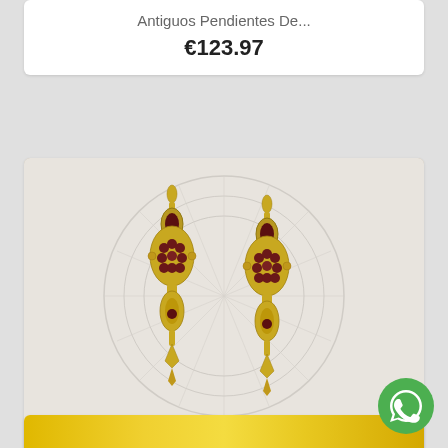Antiguos Pendientes De...
€123.97
[Figure (photo): Photo of two ornate gold antique earrings with dark gemstones, placed on a white lace doily background]
Antiguos Pendientes De...
€826.45
[Figure (photo): Partial view of a yellow/gold item at the bottom of the page]
[Figure (logo): WhatsApp circular green button with phone handset icon]